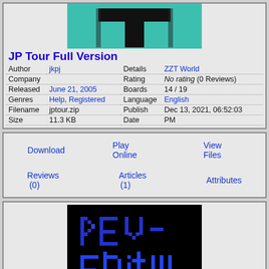[Figure (illustration): Teal/cyan background with a large black letter T in the center, with bracket-like side borders]
JP Tour Full Version
| Field | Value | Field | Value |
| --- | --- | --- | --- |
| Author | jkpj | Details | ZZT World |
| Company |  | Rating | No rating (0 Reviews) |
| Released | June 21, 2005 | Boards | 14 / 19 |
| Genres | Help, Registered | Language | English |
| Filename | jptour.zip | Publish | Dec 13, 2021, 06:52:03 |
| Size | 11.3 KB | Date | PM |
Download
Play Online
View Files
Reviews (0)
Articles (1)
Attributes
[Figure (screenshot): Black background with blue pixelated text reading 'KEV-' on the first line and 'Edit !!!' on the second line]